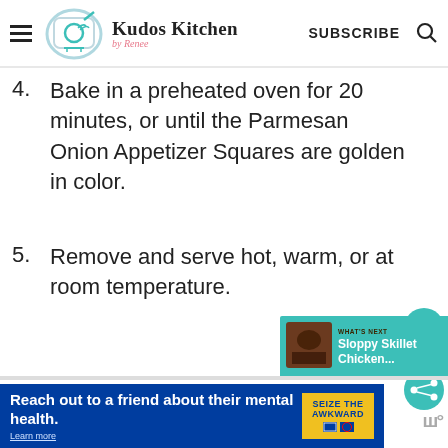Kudos Kitchen by Renee — SUBSCRIBE
4. Bake in a preheated oven for 20 minutes, or until the Parmesan Onion Appetizer Squares are golden in color.
5. Remove and serve hot, warm, or at room temperature.
[Figure (infographic): Social sharing widget with heart icon, 20.5K count, and share icon in teal circles]
[Figure (screenshot): WHAT'S NEXT recommendation widget showing 'Sloppy Skillet Chicken...' with thumbnail]
[Figure (infographic): Advertisement banner: 'Reach out to a friend about their mental health. Learn more' with SEIZE THE AWKWARD badge]